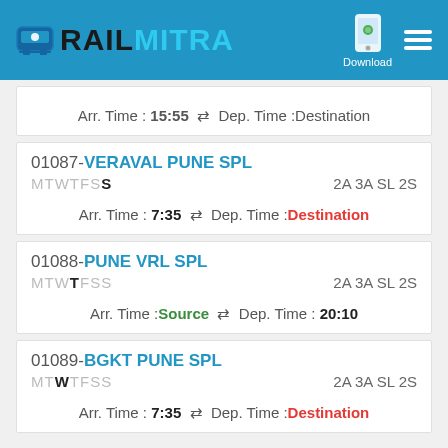[Figure (logo): RailMitra logo with train icon and Download button]
Arr. Time : 15:55 ⇌ Dep. Time : Destination
01087-VERAVAL PUNE SPL MTWTFSS 2A 3A SL 2S
Arr. Time : 7:35 ⇌ Dep. Time : Destination
01088-PUNE VRL SPL MTWTFSS 2A 3A SL 2S
Arr. Time : Source ⇌ Dep. Time : 20:10
01089-BGKT PUNE SPL MTWTFSS 2A 3A SL 2S
Arr. Time : 7:35 ⇌ Dep. Time : Destination